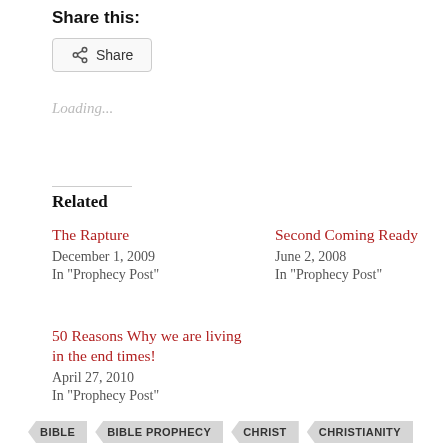Share this:
Share (button)
Loading...
Related
The Rapture
December 1, 2009
In "Prophecy Post"
Second Coming Ready
June 2, 2008
In "Prophecy Post"
50 Reasons Why we are living in the end times!
April 27, 2010
In "Prophecy Post"
BIBLE
BIBLE PROPHECY
CHRIST
CHRISTIANITY